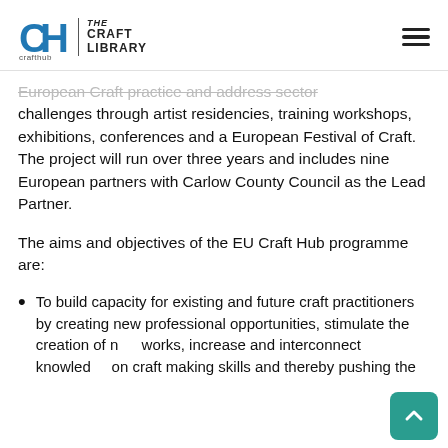crafthub | THE CRAFT LIBRARY
European Craft practice and address sector challenges through artist residencies, training workshops, exhibitions, conferences and a European Festival of Craft. The project will run over three years and includes nine European partners with Carlow County Council as the Lead Partner.
The aims and objectives of the EU Craft Hub programme are:
To build capacity for existing and future craft practitioners by creating new professional opportunities, stimulate the creation of new works, increase and interconnect knowledge on craft making skills and thereby pushing the